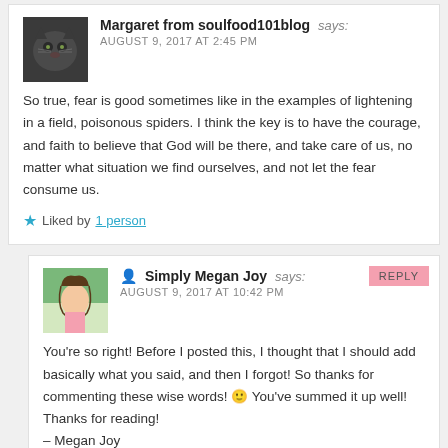Margaret from soulfood101blog says: AUGUST 9, 2017 AT 2:45 PM — So true, fear is good sometimes like in the examples of lightening in a field, poisonous spiders. I think the key is to have the courage, and faith to believe that God will be there, and take care of us, no matter what situation we find ourselves, and not let the fear consume us. ★ Liked by 1 person
Simply Megan Joy says: AUGUST 9, 2017 AT 10:42 PM — You're so right! Before I posted this, I thought that I should add basically what you said, and then I forgot! So thanks for commenting these wise words! 🙂 You've summed it up well! Thanks for reading! – Megan Joy